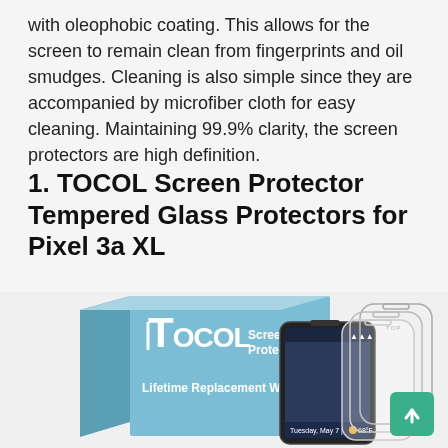with oleophobic coating. This allows for the screen to remain clean from fingerprints and oil smudges. Cleaning is also simple since they are accompanied by microfiber cloth for easy cleaning. Maintaining 99.9% clarity, the screen protectors are high definition.
1. TOCOL Screen Protector Tempered Glass Protectors for Pixel 3a XL
[Figure (photo): Product photo of TOCOL screen protector box and tempered glass protectors alongside a Google Pixel 3a XL smartphone showing Tuesday, May 7 | 68°F. The box shows TOCOL Screen Protector logo and Lifetime Replacement W(arranty). Three transparent glass protectors are shown stacked to the right.]